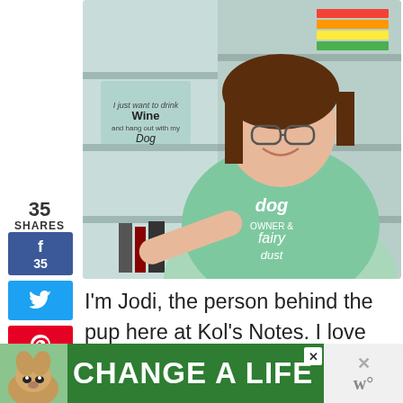[Figure (photo): Woman in a mint green t-shirt with dog-themed text, smiling, standing in front of shelving with books and craft supplies]
35
SHARES
[Figure (infographic): Social share sidebar with Facebook (35), Twitter, Pinterest, heart save (36), and share buttons]
I'm Jodi, the person behind the pup here at Kol's Notes. I love desserts, netflixs and obviously, dogs. You can Learn More About Me, Why I Do This And The
[Figure (infographic): Green advertisement banner at bottom reading CHANGE A LIFE with a dog photo on the left]